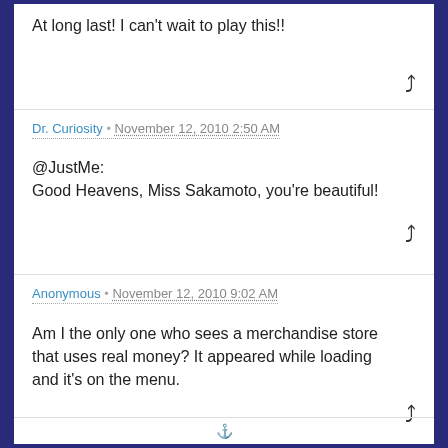At long last! I can't wait to play this!!
Dr. Curiosity • November 12, 2010 2:50 AM
@JustMe:
Good Heavens, Miss Sakamoto, you're beautiful!
Anonymous • November 12, 2010 9:02 AM
Am I the only one who sees a merchandise store that uses real money? It appeared while loading and it's on the menu.